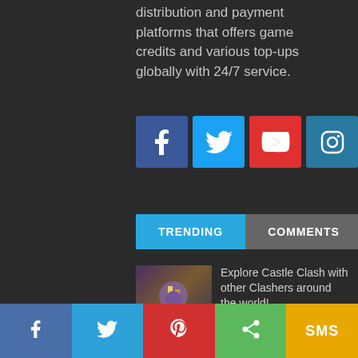distribution and payment platforms that offers game credits and various top-ups globally with 24/7 service.
[Figure (infographic): Row of 6 social media icons: Facebook (blue), Twitter (light blue), YouTube (red), Instagram (blue-grey), Pinterest (red), LinkedIn (blue)]
[Figure (infographic): Tab navigation with TRENDING (active, cyan) and COMMENTS (grey) tabs]
[Figure (photo): Castle Clash game thumbnail image]
Explore Castle Clash with other Clashers around the world!
November 9, 2015
[Figure (photo): iTunes gift card thumbnail - blue/white gradient]
5 Reasons to Buy iTunes Gift Cards
July 24, 2018
Pokémon Go January
[Figure (infographic): Bottom share bar with Facebook, Twitter, Pinterest, Share, and SMS buttons]